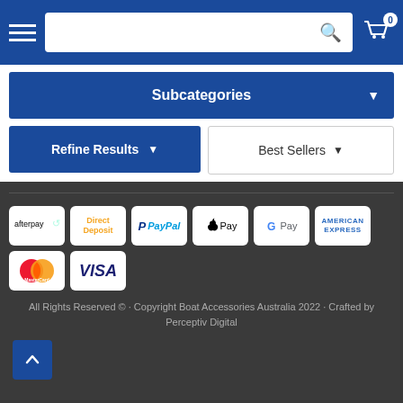Navigation header with hamburger menu, search bar, and shopping cart (0 items)
Subcategories
Refine Results
Best Sellers
[Figure (logo): Payment method logos: afterpay, Direct Deposit, PayPal, Apple Pay, Google Pay, American Express, MasterCard, VISA]
All Rights Reserved © · Copyright Boat Accessories Australia 2022 · Crafted by Perceptiv Digital